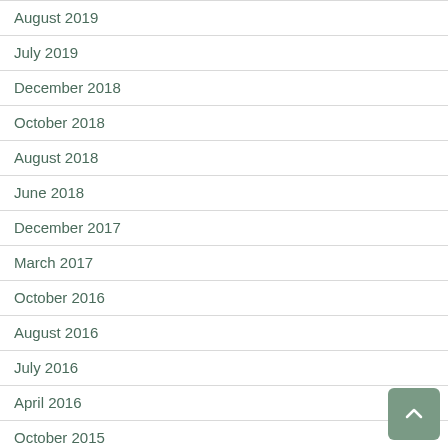August 2019
July 2019
December 2018
October 2018
August 2018
June 2018
December 2017
March 2017
October 2016
August 2016
July 2016
April 2016
October 2015
June 2015